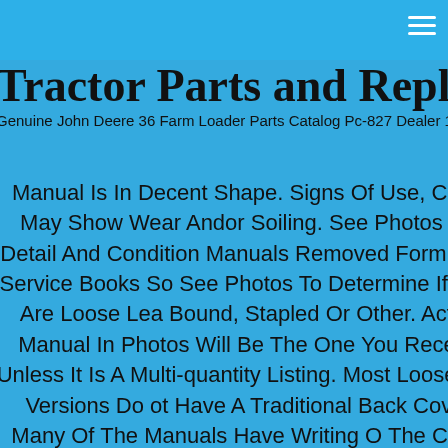≡
Tractor Parts and Replacement
Genuine John Deere 36 Farm Loader Parts Catalog Pc-827 Dealer 1964
Manual Is In Decent Shape. Signs Of Use, Cover May Show Wear Andor Soiling. See Photos For Detail And Condition Manuals Removed Form Dealer Service Books So See Photos To Determine If They Are Loose Leaf Bound, Stapled Or Other. Actual Manual In Photos Will Be The One You Receive Unless It Is A Multi-quantity Listing. Most Loose Leaf Versions Do Not Have A Traditional Back Cover. Many Of The Manuals Have Writing On The Cover Form The Dealership. Most Indicate Serial Numbers Of Equipment They Used These Manuals To Service.